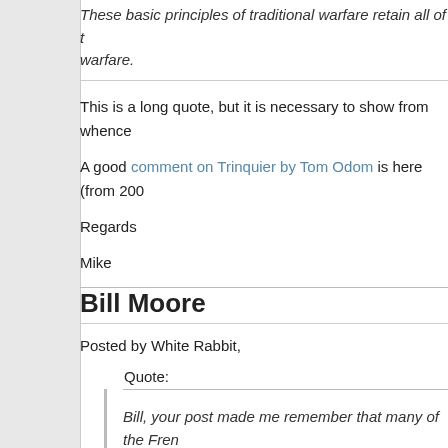These basic principles of traditional warfare retain all of the warfare.
This is a long quote, but it is necessary to show from whence
A good comment on Trinquier by Tom Odom is here (from 200
Regards
Mike
Bill Moore
Posted by White Rabbit,
Quote:
Bill, your post made me remember that many of the Fren which I think includes Trinquier although I have to double resistant during the Second World War. Accordingly, som
While not justifying the use of torture, it might explain the as a technique which worked on them, it is likely that the that it will work on others.